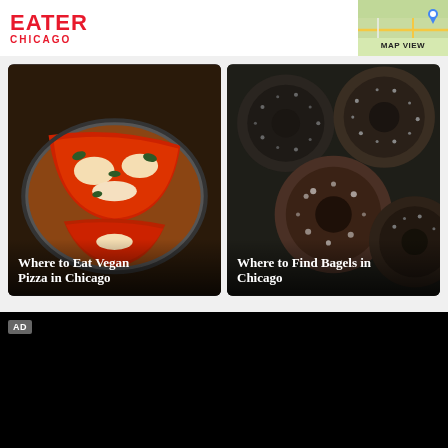EATER CHICAGO
MAP VIEW
[Figure (photo): Deep dish vegan pizza in a pan with red tomato sauce and toppings]
Where to Eat Vegan Pizza in Chicago
[Figure (photo): Assorted bagels covered in seeds and toppings viewed from above on dark background]
Where to Find Bagels in Chicago
AD